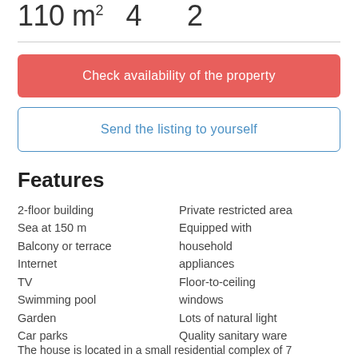110 m² 4 2
Check availability of the property
Send the listing to yourself
Features
2-floor building
Sea at 150 m
Balcony or terrace
Internet
TV
Swimming pool
Garden
Car parks
Private restricted area
Equipped with household appliances
Floor-to-ceiling windows
Lots of natural light
Quality sanitary ware
The house is located in a small residential complex of 7